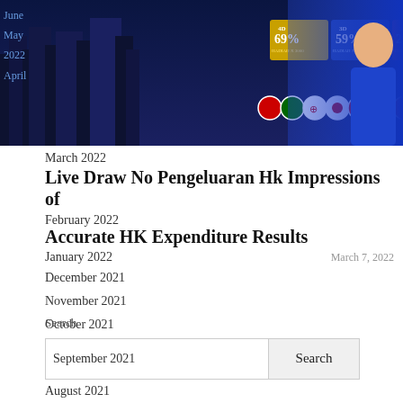[Figure (screenshot): Banner image showing lottery/gambling site with odds: 4D 69%, 3D 59%, 2D 29%, country flags row, and female presenter on right side]
June
May 2022
April
March 2022
Live Draw No Pengeluaran Hk Impressions of Accurate HK Expenditure Results
February 2022
January 2022
March 7, 2022
December 2021
November 2021
Search
October 2021
September 2021
August 2021
Categories
Recent Posts
The Benefits of a Live Casino Online Betting
SBOBet Sportsbook Review
Togel
IDNPoker – How to Play Online Poker
Pragmatic Play Slots Review